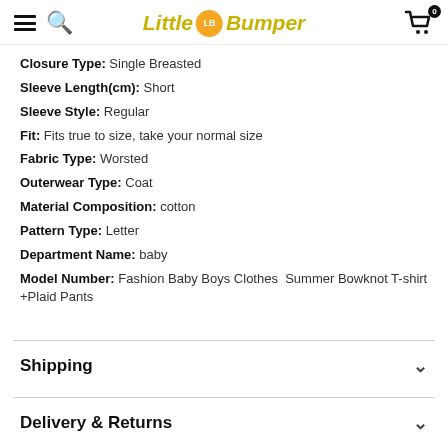Little Bumper
Closure Type: Single Breasted
Sleeve Length(cm): Short
Sleeve Style: Regular
Fit: Fits true to size, take your normal size
Fabric Type: Worsted
Outerwear Type: Coat
Material Composition: cotton
Pattern Type: Letter
Department Name: baby
Model Number: Fashion Baby Boys Clothes  Summer Bowknot T-shirt +Plaid Pants
Shipping
Delivery & Returns